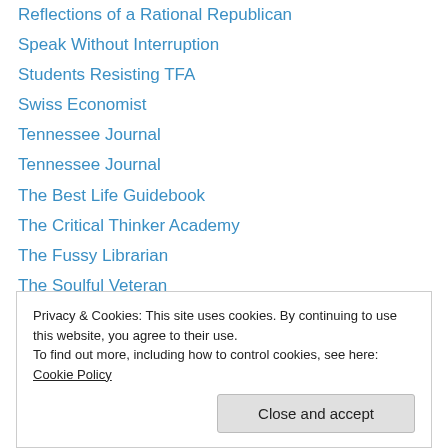Reflections of a Rational Republican
Speak Without Interruption
Students Resisting TFA
Swiss Economist
Tennessee Journal
Tennessee Journal
The Best Life Guidebook
The Critical Thinker Academy
The Fussy Librarian
The Soulful Veteran
The Velvet Rocket
Uphill Writing
Victoria Dixon
Privacy & Cookies: This site uses cookies. By continuing to use this website, you agree to their use. To find out more, including how to control cookies, see here: Cookie Policy
Close and accept